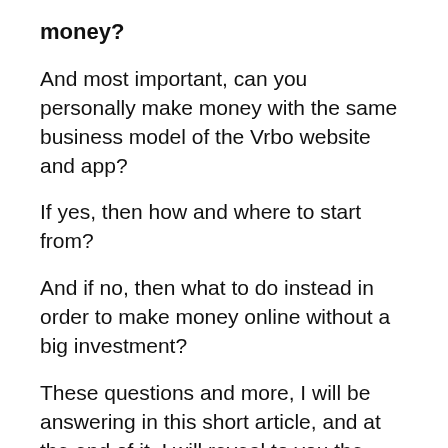money?
And most important, can you personally make money with the same business model of the Vrbo website and app?
If yes, then how and where to start from?
And if no, then what to do instead in order to make money online without a big investment?
These questions and more, I will be answering in this short article, and at the end of it, I will reveal to you the place where I personally went in order to start making money with Vrbo's method without a big